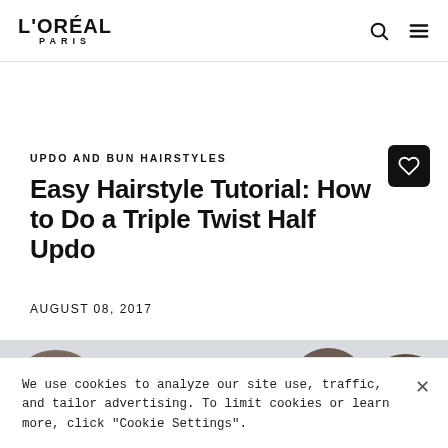L'ORÉAL PARIS
UPDO AND BUN HAIRSTYLES
Easy Hairstyle Tutorial: How to Do a Triple Twist Half Updo
AUGUST 08, 2017
[Figure (photo): Strip of hairstyle tutorial images showing steps for triple twist half updo]
We use cookies to analyze our site use, traffic, and tailor advertising. To limit cookies or learn more, click "Cookie Settings".